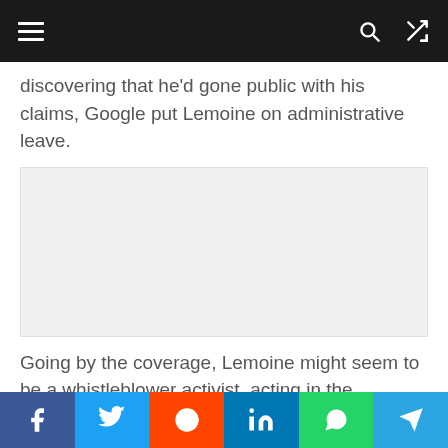[Navigation bar with hamburger menu, search icon, and shuffle icon]
discovering that he'd gone public with his claims, Google put Lemoine on administrative leave.
[Figure (other): Advertisement placeholder box (gray background)]
Going by the coverage, Lemoine might seem to be a whistleblower activist, acting in the interests of a computer program that needs protection from its makers. “The chorus of technologists who believe AI models may not be far off from achieving consciousness is getting bolder,” the
Social share bar: Facebook, Twitter, Reddit, LinkedIn, WhatsApp, Telegram